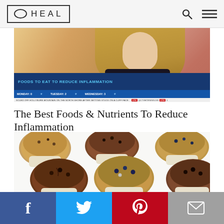O | HEAL
[Figure (screenshot): TV news screenshot showing a woman being interviewed with lower-third graphic reading 'FOODS TO EAT TO REDUCE INFLAMMATION' and weather bar showing MONDAY: 0, TUESDAY: 2, WEDNESDAY: 3]
The Best Foods & Nutrients To Reduce Inflammation
[Figure (photo): Overhead photo of six muffins in paper cupcake liners on a white surface — chocolate and blueberry varieties]
f  t  p  mail social share buttons